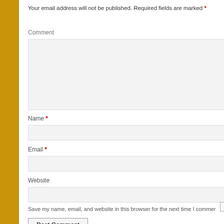Your email address will not be published. Required fields are marked *
Comment
Name *
Email *
Website
Save my name, email, and website in this browser for the next time I comment.
Post Comment